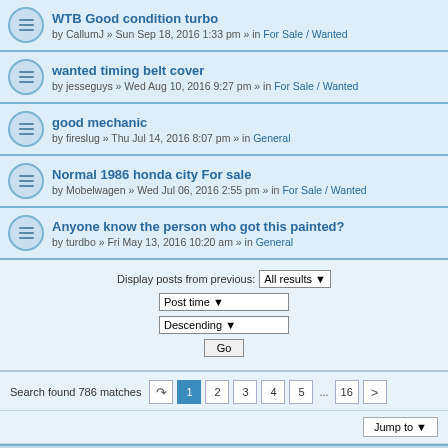WTB Good condition turbo — by CallumJ » Sun Sep 18, 2016 1:33 pm » in For Sale / Wanted
wanted timing belt cover — by jesseguys » Wed Aug 10, 2016 9:27 pm » in For Sale / Wanted
good mechanic — by fireslug » Thu Jul 14, 2016 8:07 pm » in General
Normal 1986 honda city For sale — by Mobelwagen » Wed Jul 06, 2016 2:55 pm » in For Sale / Wanted
Anyone know the person who got this painted? — by turdbo » Fri May 13, 2016 10:20 am » in General
Display posts from previous: All results
Post time
Descending
Go
Search found 786 matches  1  2  3  4  5  ...  16  >
Jump to
Board index   The team
Powered by phpBB® Forum Software © phpBB Limited